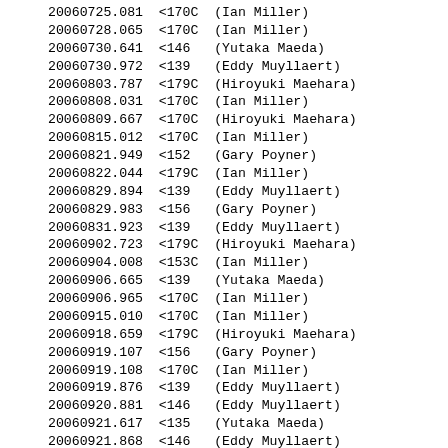20060725.081  <170C  (Ian Miller)
20060728.065  <170C  (Ian Miller)
20060730.641  <146   (Yutaka Maeda)
20060730.972  <139   (Eddy Muyllaert)
20060803.787  <179C  (Hiroyuki Maehara)
20060808.031  <170C  (Ian Miller)
20060809.667  <170C  (Hiroyuki Maehara)
20060815.012  <170C  (Ian Miller)
20060821.949  <152   (Gary Poyner)
20060822.044  <179C  (Ian Miller)
20060829.894  <139   (Eddy Muyllaert)
20060829.983  <156   (Gary Poyner)
20060831.923  <139   (Eddy Muyllaert)
20060902.723  <179C  (Hiroyuki Maehara)
20060904.008  <153C  (Ian Miller)
20060906.665  <139   (Yutaka Maeda)
20060906.965  <170C  (Ian Miller)
20060915.010  <170C  (Ian Miller)
20060918.659  <179C  (Hiroyuki Maehara)
20060919.107  <156   (Gary Poyner)
20060919.108  <170C  (Ian Miller)
20060919.876  <139   (Eddy Muyllaert)
20060920.881  <146   (Eddy Muyllaert)
20060921.617  <135   (Yutaka Maeda)
20060921.868  <146   (Eddy Muyllaert)
20060923.635  <179C  (Hiroyuki Maehara)
20060924.956  <170C  (Ian Miller)
20060926.628  <139   (Yutaka Maeda)
20060926.890  <146   (Eddy Muyllaert)
20060927.672  <146   (Yutaka Maeda)